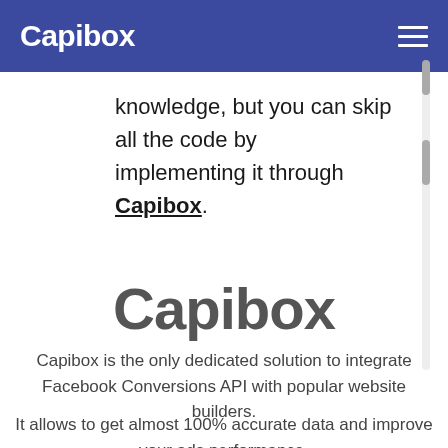Capibox
knowledge, but you can skip all the code by implementing it through Capibox.
Capibox
Capibox is the only dedicated solution to integrate Facebook Conversions API with popular website builders.
It allows to get almost 100% accurate data and improve your ads performance.